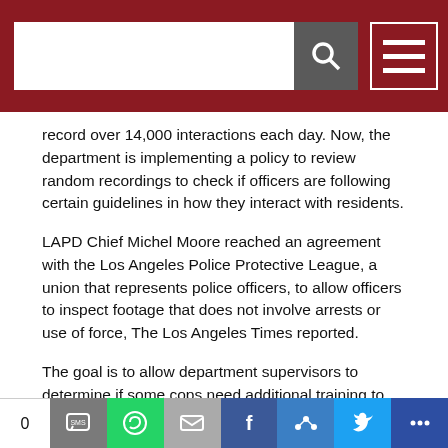[Navigation bar with search input, search button, and hamburger menu on dark red background]
record over 14,000 interactions each day. Now, the department is implementing a policy to review random recordings to check if officers are following certain guidelines in how they interact with residents.
LAPD Chief Michel Moore reached an agreement with the Los Angeles Police Protective League, a union that represents police officers, to allow officers to inspect footage that does not involve arrests or use of force, The Los Angeles Times reported.
The goal is to allow department supervisors to determine if some cops need additional training to address issues with biased policing. Footage will be reviewed to ensure that officers explain their actions
0  [SMS] [WhatsApp] [Email] [Facebook] [unknown] [Twitter] [more]